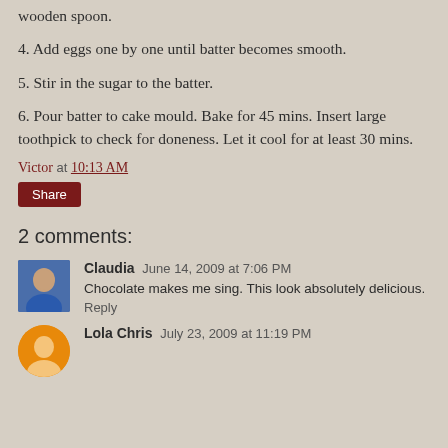wooden spoon.
4. Add eggs one by one until batter becomes smooth.
5. Stir in the sugar to the batter.
6. Pour batter to cake mould. Bake for 45 mins. Insert large toothpick to check for doneness. Let it cool for at least 30 mins.
Victor at 10:13 AM
Share
2 comments:
Claudia June 14, 2009 at 7:06 PM
Chocolate makes me sing. This look absolutely delicious.
Reply
Lola Chris July 23, 2009 at 11:19 PM